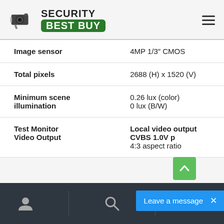Security Best Buy
| Specification | Value |
| --- | --- |
| Image sensor | 4MP 1/3" CMOS |
| Total pixels | 2688 (H) x 1520 (V) |
| Minimum scene illumination | 0.26 lux (color)
0 lux (B/W) |
| Test Monitor Video Output | Local video output CVBS 1.0V p
4:3 aspect ratio |
User | Search | Leave a message